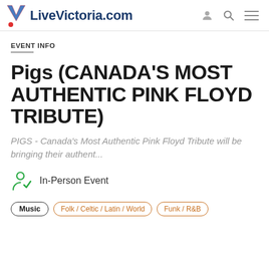LiveVictoria.com
EVENT INFO
Pigs (CANADA'S MOST AUTHENTIC PINK FLOYD TRIBUTE)
PIGS - Canada's Most Authentic Pink Floyd Tribute will be bringing their authent...
In-Person Event
Music
Folk / Celtic / Latin / World
Funk / R&B